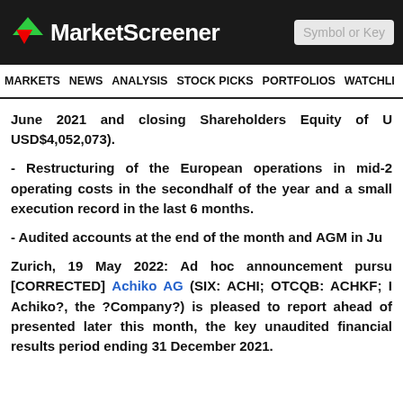MarketScreener
MARKETS NEWS ANALYSIS STOCK PICKS PORTFOLIOS WATCHLI
June 2021 and closing Shareholders Equity of U USD$4,052,073).
- Restructuring of the European operations in mid-2 operating costs in the secondhalf of the year and a small execution record in the last 6 months.
- Audited accounts at the end of the month and AGM in Ju
Zurich, 19 May 2022: Ad hoc announcement pursu [CORRECTED] Achiko AG (SIX: ACHI; OTCQB: ACHKF; I Achiko?, the ?Company?) is pleased to report ahead of presented later this month, the key unaudited financial results period ending 31 December 2021.